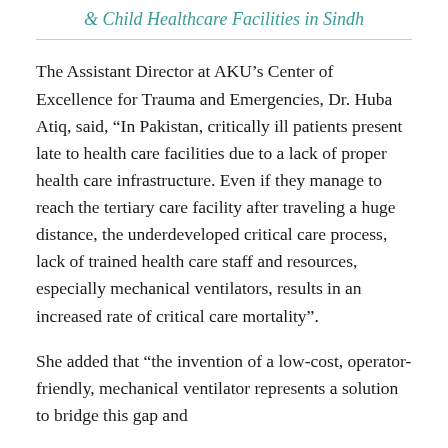& Child Healthcare Facilities in Sindh
The Assistant Director at AKU’s Center of Excellence for Trauma and Emergencies, Dr. Huba Atiq, said, “In Pakistan, critically ill patients present late to health care facilities due to a lack of proper health care infrastructure. Even if they manage to reach the tertiary care facility after traveling a huge distance, the underdeveloped critical care process, lack of trained health care staff and resources, especially mechanical ventilators, results in an increased rate of critical care mortality”.
She added that “the invention of a low-cost, operator-friendly, mechanical ventilator represents a solution to bridge this gap and